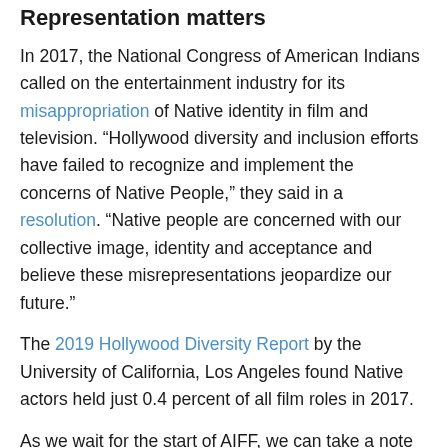Representation matters
In 2017, the National Congress of American Indians called on the entertainment industry for its misappropriation of Native identity in film and television. “Hollywood diversity and inclusion efforts have failed to recognize and implement the concerns of Native People,” they said in a resolution. “Native people are concerned with our collective image, identity and acceptance and believe these misrepresentations jeopardize our future.”
The 2019 Hollywood Diversity Report by the University of California, Los Angeles found Native actors held just 0.4 percent of all film roles in 2017.
As we wait for the start of AIFF, we can take a note from Charitie Ropati’s Twitter thread, which you can open by clicking below, about acclaimed films and TV shows that